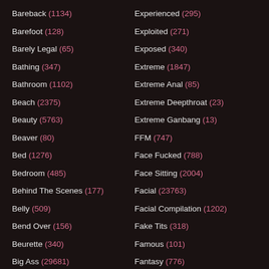Bareback (1134)
Barefoot (128)
Barely Legal (65)
Bathing (347)
Bathroom (1102)
Beach (2375)
Beauty (5763)
Beaver (80)
Bed (1276)
Bedroom (485)
Behind The Scenes (177)
Belly (509)
Bend Over (156)
Beurette (340)
Big Ass (29681)
Big Black Cock (9685)
Experienced (295)
Exploited (271)
Exposed (340)
Extreme (1847)
Extreme Anal (85)
Extreme Deepthroat (23)
Extreme Ganbang (13)
FFM (747)
Face Fucked (788)
Face Sitting (2004)
Facial (23763)
Facial Compilation (1202)
Fake Tits (318)
Famous (101)
Fantasy (776)
Farm (44)